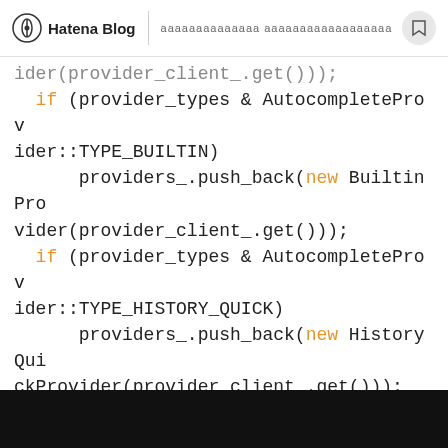Hatena Blog | [Japanese text]
[Figure (screenshot): Code snippet showing C++ autocomplete provider initialization with if statements checking provider_types flags]
ider(provider_client_.get()));
    if (provider_types & AutocompleteProvider::TYPE_BUILTIN)
        providers_.push_back(new BuiltinProvider(provider_client_.get()));
    if (provider_types & AutocompleteProvider::TYPE_HISTORY_QUICK)
        providers_.push_back(new HistoryQuickProvider(provider_client_.get()));
    if (provider_types & AutocompleteProvider::TYPE_HISTORY_URL) {
        history_url_provider_ =
            new HistoryURLProvider(provider